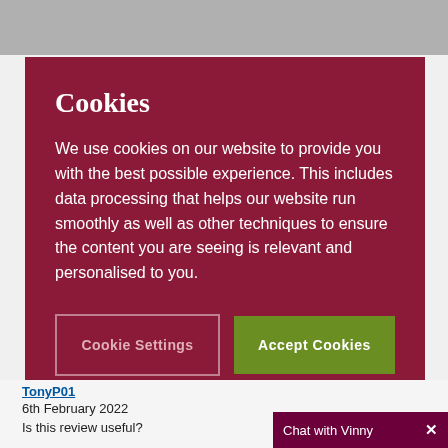Cookies
We use cookies on our website to provide you with the best possible experience. This includes data processing that helps our website run smoothly as well as other techniques to ensure the content you are seeing is relevant and personalised to you.
Cookie Settings
Accept Cookies
TonyP01
6th February 2022
Is this review useful?
Chat with Vinny  X